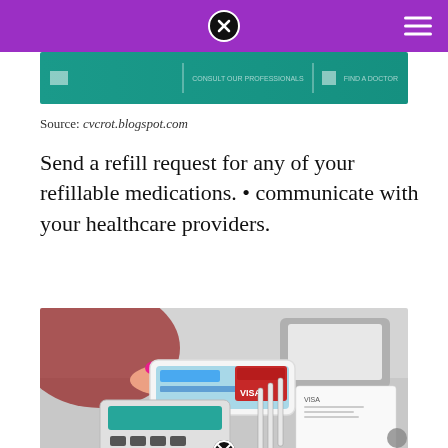[Figure (screenshot): Teal colored website header/navigation bar strip]
Source: cvcrot.blogspot.com
Send a refill request for any of your refillable medications. • communicate with your healthcare providers.
[Figure (photo): Person holding a white smartphone over a payment terminal (card reader with keypad), with pens and documents in the background]